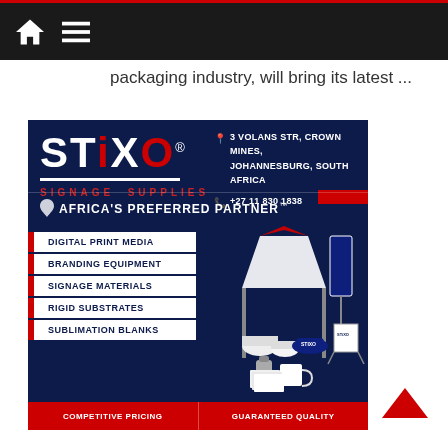Navigation bar with home and menu icons
packaging industry, will bring its latest ...
[Figure (infographic): STIXO Signage Supplies advertisement. Dark navy blue background. Logo top left: STIXO SIGNAGE SUPPLIES with red X and underline. Contact info top right: 3 Volans Str, Crown Mines, Johannesburg, South Africa. +27 11 830 1838. Africa's Preferred Partner tagline. Products listed: Digital Print Media, Branding Equipment, Signage Materials, Rigid Substrates, Sublimation Blanks. Product images: tent, banner stand, rolls, caps, a-frame, mug, bottle. Bottom: Competitive Pricing | Guaranteed Quality]
[Figure (logo): Back-to-top caret/arrow icon in red, bottom right corner of page]